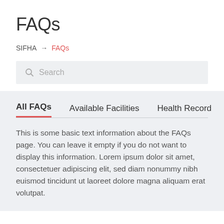FAQs
SIFHA → FAQs
Search
All FAQs   Available Facilities   Health Record
This is some basic text information about the FAQs page. You can leave it empty if you do not want to display this information. Lorem ipsum dolor sit amet, consectetuer adipiscing elit, sed diam nonummy nibh euismod tincidunt ut laoreet dolore magna aliquam erat volutpat.